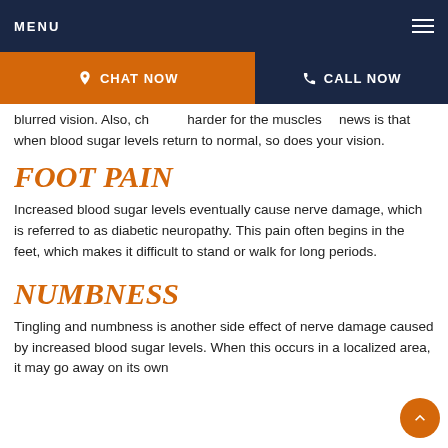MENU
blurred vision. Also, ch... harder for the muscles... news is that when blood sugar levels return to normal, so does your vision.
FOOT PAIN
Increased blood sugar levels eventually cause nerve damage, which is referred to as diabetic neuropathy. This pain often begins in the feet, which makes it difficult to stand or walk for long periods.
NUMBNESS
Tingling and numbness is another side effect of nerve damage caused by increased blood sugar levels. When this occurs in a localized area, it may go away on its own